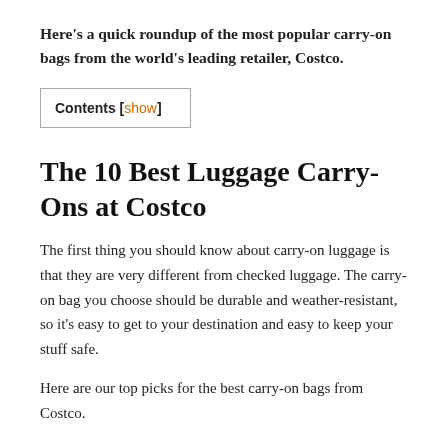Here's a quick roundup of the most popular carry-on bags from the world's leading retailer, Costco.
Contents [show]
The 10 Best Luggage Carry-Ons at Costco
The first thing you should know about carry-on luggage is that they are very different from checked luggage. The carry-on bag you choose should be durable and weather-resistant, so it's easy to get to your destination and easy to keep your stuff safe.
Here are our top picks for the best carry-on bags from Costco.